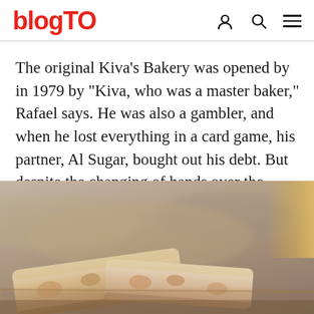blogTO
The original Kiva's Bakery was opened by in 1979 by "Kiva, who was a master baker," Rafael says. He was also a gambler, and when he lost everything in a card game, his partner, Al Sugar, bought out his debt. But despite the changing of hands over the years, the recipes remain the same. "We use no additives, no chemicals, and do everything the old fashioned way."
[Figure (photo): Close-up photo of biscotti or bread pieces on a surface, blurred background with warm brown tones]